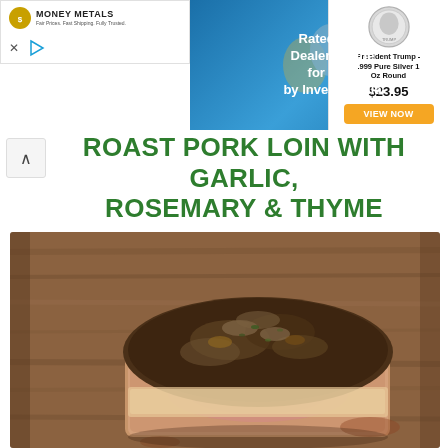[Figure (screenshot): Money Metals Exchange advertisement banner with silver coins and Trump coin product]
ROAST PORK LOIN WITH GARLIC, ROSEMARY & THYME
[Figure (photo): Photo of a roast pork loin with herb crust on a wooden cutting board]